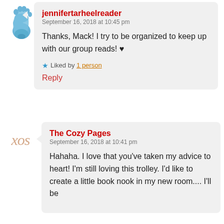[Figure (illustration): Blue cartoon baby footprint avatar icon]
jennifertarheelreader
September 16, 2018 at 10:45 pm

Thanks, Mack! I try to be organized to keep up with our group reads! ♥

★ Liked by 1 person
Reply
[Figure (illustration): Handwritten-style logo text reading 'xos' in cursive peach/tan color]
The Cozy Pages
September 16, 2018 at 10:41 pm

Hahaha. I love that you've taken my advice to heart! I'm still loving this trolley. I'd like to create a little book nook in my new room.... I'll be